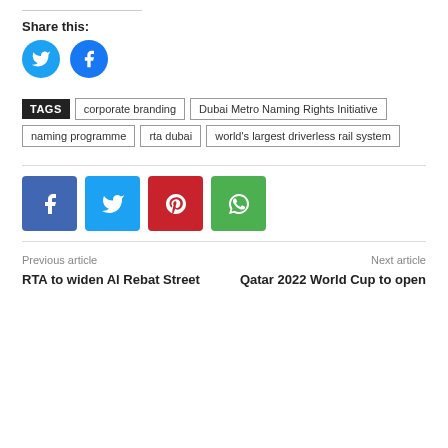Share this:
[Figure (illustration): Two circular social media share buttons: Twitter (blue bird icon) and Facebook (blue f icon)]
TAGS  corporate branding  Dubai Metro Naming Rights Initiative  naming programme  rta dubai  world's largest driverless rail system
[Figure (illustration): Four square social media share buttons: Facebook (dark blue, f), Twitter (light blue, bird), Pinterest (red, p), WhatsApp (green, phone)]
Previous article
Next article
RTA to widen Al Rebat Street
Qatar 2022 World Cup to open